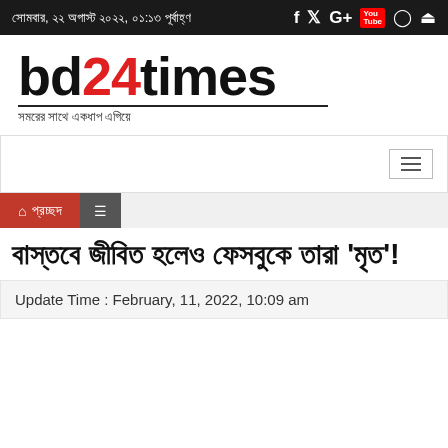সোমবার, ২২ অগাস্ট ২০২২, ০১:১৩ পূর্বাহ্ণ
[Figure (logo): bd24times logo with Bengali tagline: সমরের সাথে একধাপ এগিয়ে]
[Figure (other): Navigation bar with hamburger menu icon]
[Figure (other): Breadcrumb bar with home icon and প্রচ্ছদ label and menu icon]
বাস্তবে জীবিত হলেও ফেসবুকে তারা 'মৃত'!
Update Time : February, 11, 2022, 10:09 am